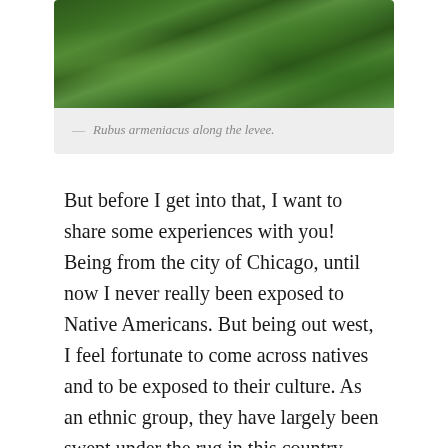[Figure (photo): Photograph of Rubus armeniacus (Himalayan blackberry) growing along a levee, showing dense green foliage]
— Rubus armeniacus along the levee.
But before I get into that, I want to share some experiences with you! Being from the city of Chicago, until now I never really been exposed to Native Americans. But being out west, I feel fortunate to come across natives and to be exposed to their culture. As an ethnic group, they have largely been swept under the rug in this country, especially in California. They have lost access to their lands, their culture, and their identity and I really feel empathy for them. Jeff, I, and a volunteer, Sarah, had the pleasure of helping a Dee,